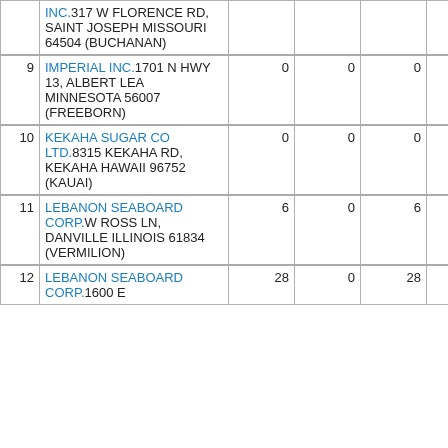| # | Facility Name / Address | Col1 | Col2 | Col3 | Col4 |  |
| --- | --- | --- | --- | --- | --- | --- |
|  | INC.317 W FLORENCE RD, SAINT JOSEPH MISSOURI 64504 (BUCHANAN) |  |  |  |  |  |
| 9 | IMPERIAL INC.1701 N HWY 13, ALBERT LEA MINNESOTA 56007 (FREEBORN) | 0 | 0 | 0 | 0 |  |
| 10 | KEKAHA SUGAR CO LTD.8315 KEKAHA RD, KEKAHA HAWAII 96752 (KAUAI) | 0 | 0 | 0 | 0 |  |
| 11 | LEBANON SEABOARD CORP.W ROSS LN, DANVILLE ILLINOIS 61834 (VERMILION) | 6 | 0 | 6 | 0 |  |
| 12 | LEBANON SEABOARD CORP.1600 E | 28 | 0 | 28 | 0 |  |